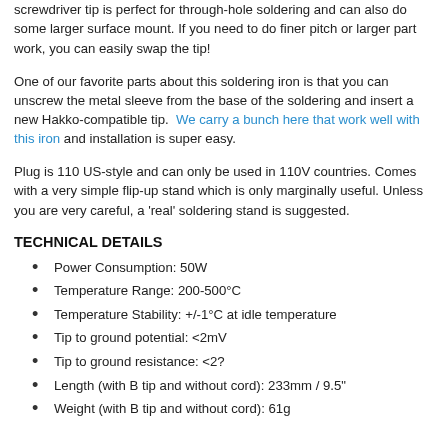With proper care this iron will last for many years. Turn it off when not in use, clean the plated tip with a sponge (no filing or sanding!) The screwdriver tip is perfect for through-hole soldering and can also do some larger surface mount. If you need to do finer pitch or larger part work, you can easily swap the tip!
One of our favorite parts about this soldering iron is that you can unscrew the metal sleeve from the base of the soldering and insert a new Hakko-compatible tip. We carry a bunch here that work well with this iron and installation is super easy.
Plug is 110 US-style and can only be used in 110V countries. Comes with a very simple flip-up stand which is only marginally useful. Unless you are very careful, a 'real' soldering stand is suggested.
TECHNICAL DETAILS
Power Consumption: 50W
Temperature Range: 200-500°C
Temperature Stability: +/-1°C at idle temperature
Tip to ground potential: <2mV
Tip to ground resistance: <2?
Length (with B tip and without cord): 233mm / 9.5"
Weight (with B tip and without cord): 61g